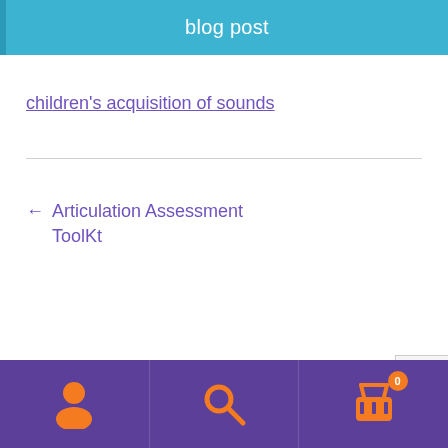blog post
children's acquisition of sounds
← Articulation Assessment ToolKt
Footer navigation bar with user, search, and cart icons